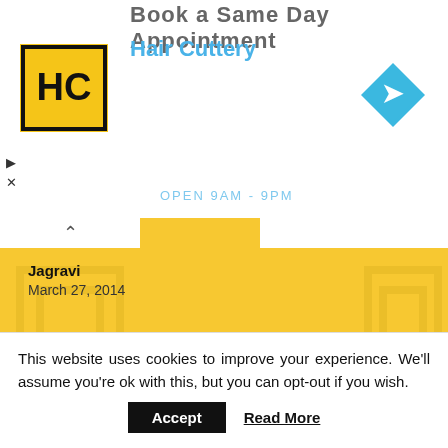[Figure (screenshot): Hair Cuttery advertisement banner with logo and navigation icon. Text: 'Book a Same Day Appointment' and 'Hair Cuttery']
Jagravi
March 27, 2014
Hii..
I want some rhyming riddles as i am going to organize treasure hunt in college.The location which i want to include in treasure hunt are
1)a reading room
2)notice board
3)Internet lab
4)Parking area
5)Reception area
I want the riddles for the the same.
This website uses cookies to improve your experience. We'll assume you're ok with this, but you can opt-out if you wish.